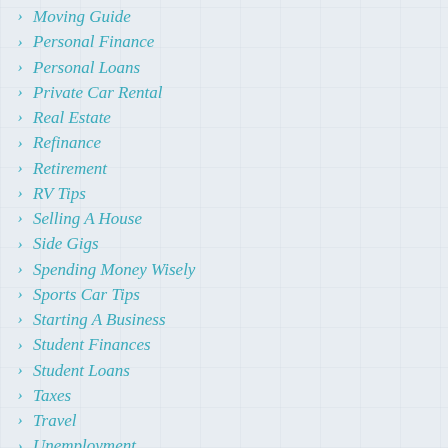Moving Guide
Personal Finance
Personal Loans
Private Car Rental
Real Estate
Refinance
Retirement
RV Tips
Selling A House
Side Gigs
Spending Money Wisely
Sports Car Tips
Starting A Business
Student Finances
Student Loans
Taxes
Travel
Unemployment
Unique Homes